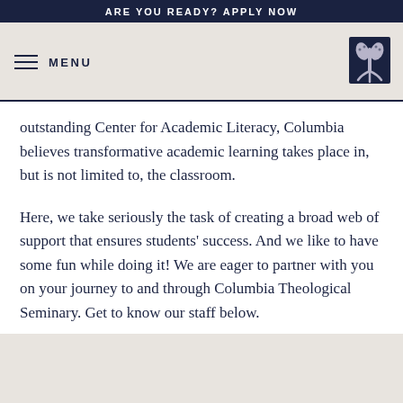ARE YOU READY? APPLY NOW
MENU
[Figure (logo): Columbia Theological Seminary logo — dark blue emblem with stylized plant/tree motif]
outstanding Center for Academic Literacy, Columbia believes transformative academic learning takes place in, but is not limited to, the classroom.
Here, we take seriously the task of creating a broad web of support that ensures students' success. And we like to have some fun while doing it! We are eager to partner with you on your journey to and through Columbia Theological Seminary. Get to know our staff below.